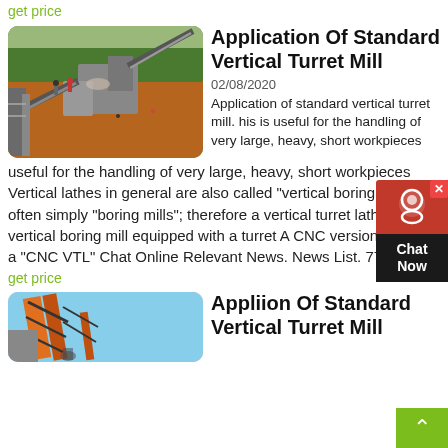get price
[Figure (photo): Aerial view of a large industrial mining/crushing plant on red dirt ground with conveyor belts, machinery, and workers visible, surrounded by green trees in the background.]
Application Of Standard Vertical Turret Mill
02/08/2020
Application of standard vertical turret mill. his is useful for the handling of very large, heavy, short workpieces Vertical lathes in general are also called "vertical boring mills" or often simply "boring mills"; therefore a vertical turret lathe is a vertical boring mill equipped with a turret A CNC version is called a "CNC VTL" Chat Online Relevant News. News List. 770M
get price
[Figure (photo): Industrial conveyor belt structure with orange metallic framework against a blue sky, with material falling off the conveyor end.]
Appliion Of Standard Vertical Turret Mill